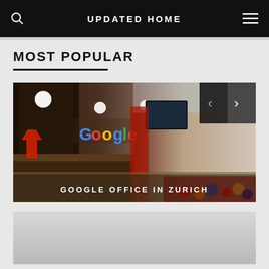UPDATED HOME
MOST POPULAR
[Figure (photo): Google Office in Zurich interior photo showing reception area with Google logo on wall, colorful seating, and modern open office space]
GOOGLE OFFICE IN ZURICH
[Figure (photo): Partially visible second image, appears to be a light gray/silver interior or exterior scene]